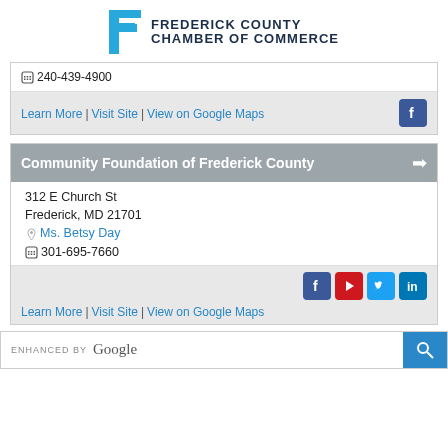[Figure (logo): Frederick County Chamber of Commerce logo with F icon and text]
240-439-4900
Learn More | Visit Site | View on Google Maps
Community Foundation of Frederick County
312 E Church St
Frederick, MD 21701
Ms. Betsy Day
301-695-7660
Learn More | Visit Site | View on Google Maps
[Figure (screenshot): ENHANCED BY Google search bar with search button]